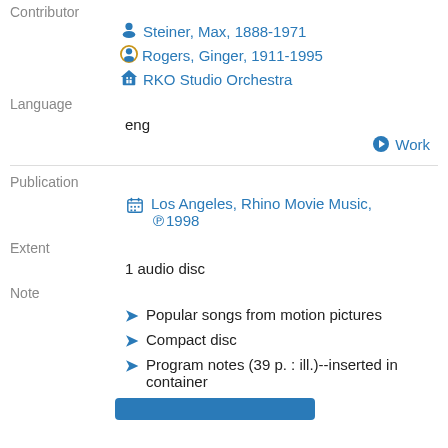Contributor
Steiner, Max, 1888-1971
Rogers, Ginger, 1911-1995
RKO Studio Orchestra
Language
eng
Work
Publication
Los Angeles, Rhino Movie Music, ℗1998
Extent
1 audio disc
Note
Popular songs from motion pictures
Compact disc
Program notes (39 p. : ill.)--inserted in container